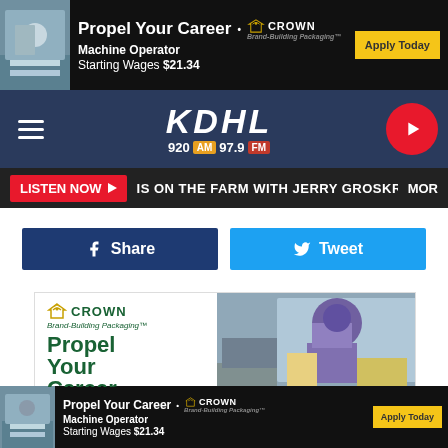[Figure (infographic): Top banner advertisement for Crown Brand-Building Packaging. Text: Propel Your Career • CROWN Brand-Building Packaging™. Machine Operator. Starting Wages $21.34. Apply Today button.]
[Figure (logo): KDHL 920 AM 97.9 FM radio station navigation bar with hamburger menu and play button.]
[Figure (infographic): Listen Now button with ticker text: IS ON THE FARM WITH JERRY GROSKREUTZ. MOR...]
[Figure (infographic): Facebook Share button and Twitter Tweet button social sharing row.]
[Figure (infographic): Main Crown advertisement: Crown Brand-Building Packaging logo, Propel Your Career headline in green, Machine Operator, Starting Wages text on left side. Worker photo on right side.]
[Figure (infographic): Bottom banner advertisement for Crown. Propel Your Career • CROWN Brand-Building Packaging™. Machine Operator. Starting Wages $21.34. Apply Today.]